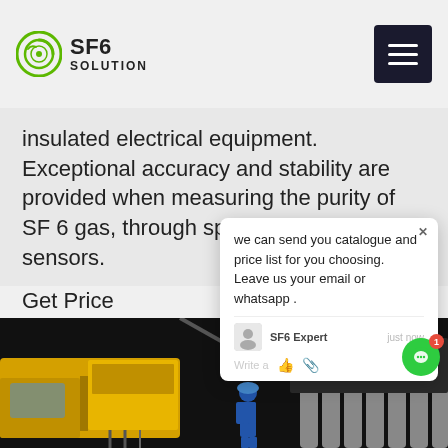SF6 SOLUTION
insulated electrical equipment. Exceptional accuracy and stability are provided when measuring the purity of SF 6 gas, through specially selected sensors.
Get Price
[Figure (photo): Industrial SF6 gas equipment with a yellow truck, cylinders, hoses, control panels and a worker in blue uniform and hard hat at night]
we can send you catalogue and price list for you choosing. Leave us your email or whatsapp .
SF6 Expert    just now
Write a